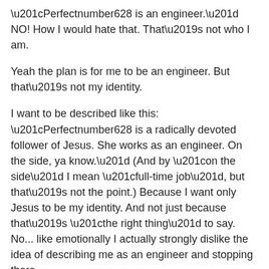“Perfectnumber628 is an engineer.” NO! How I would hate that. That’s not who I am.
Yeah the plan is for me to be an engineer. But that’s not my identity.
I want to be described like this: “Perfectnumber628 is a radically devoted follower of Jesus. She works as an engineer. On the side, ya know.” (And by “on the side” I mean “full-time job”, but that’s not the point.) Because I want only Jesus to be my identity. And not just because that’s “the right thing” to say. No... like emotionally I actually strongly dislike the idea of describing me as an engineer and stopping there.
And I desire this: that no one can talk about me without talking about Jesus.
Uh, what?
Perfectnumber, that’s not even realistic. That doesn’t even make sense. Yeah I know. But I can dream.